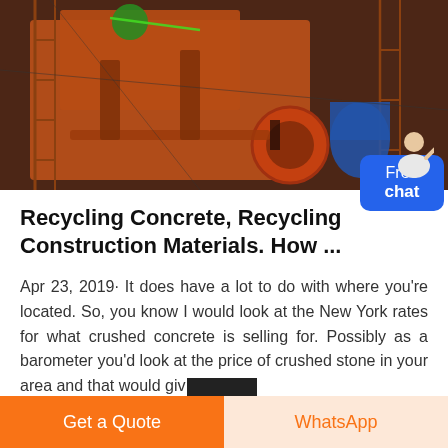[Figure (photo): Industrial machinery / concrete recycling plant equipment, orange-colored heavy machinery with scaffolding and green logo visible at top]
Recycling Concrete, Recycling Construction Materials. How ...
Apr 23, 2019· It does have a lot to do with where you're located. So, you know I would look at the New York rates for what crushed concrete is selling for. Possibly as a barometer you'd look at the price of crushed stone in your area and that would giv[redacted]
Get a Quote
WhatsApp